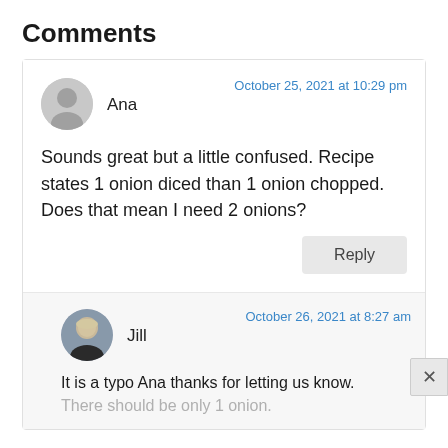Comments
October 25, 2021 at 10:29 pm
Ana
Sounds great but a little confused. Recipe states 1 onion diced than 1 onion chopped. Does that mean I need 2 onions?
Reply
October 26, 2021 at 8:27 am
Jill
It is a typo Ana thanks for letting us know.
There should be only 1 onion.